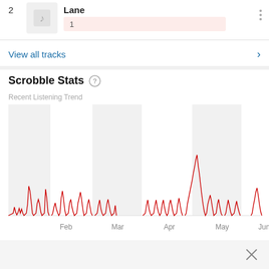2
Lane
1
View all tracks
Scrobble Stats
Recent Listening Trend
[Figure (continuous-plot): Line chart showing Recent Listening Trend with red spikes over time from January to June, with alternating shaded and white monthly bands. Notable peaks appear in mid-January, early February, mid-May. X-axis labels: Feb, Mar, Apr, May, Jun.]